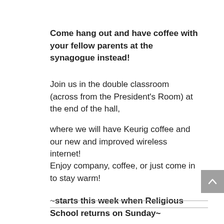Come hang out and have coffee with your fellow parents at the synagogue instead!
Join us in the double classroom (across from the President’s Room) at the end of the hall,
where we will have Keurig coffee and our new and improved wireless internet!
Enjoy company, coffee, or just come in to stay warm!
~starts this week when Religious School returns on Sunday~